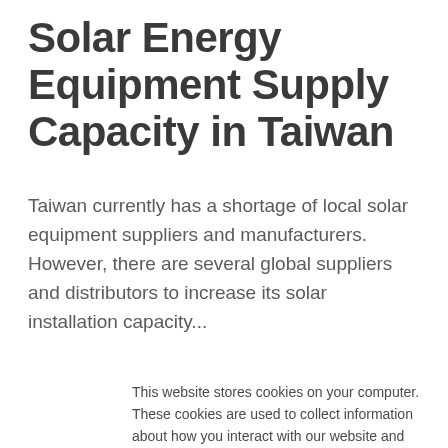Solar Energy Equipment Supply Capacity in Taiwan
Taiwan currently has a shortage of local solar equipment suppliers and manufacturers. However, there are several global suppliers and distributors to increase its solar installation capacity...
This website stores cookies on your computer. These cookies are used to collect information about how you interact with our website and allow us to remember you. We use this information in order to improve and customize your browsing experience and for analytics and metrics about our visitors both on this website and other media. To find out more about the cookies we use, see our Privacy Policy
If you decline, your information won't be tracked when you visit this website. A single cookie will be used in your browser to remember your preference not to be tracked.